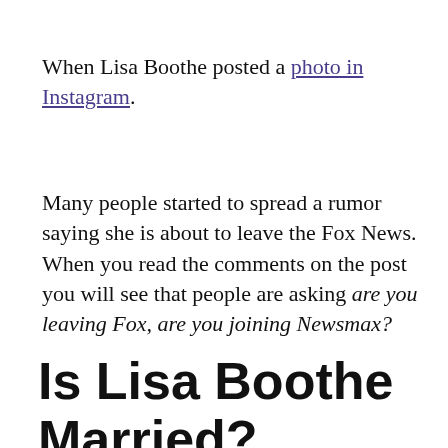When Lisa Boothe posted a photo in Instagram.
Many people started to spread a rumor saying she is about to leave the Fox News. When you read the comments on the post you will see that people are asking are you leaving Fox, are you joining Newsmax?
Is Lisa Boothe Married? Boyfriend, Husband